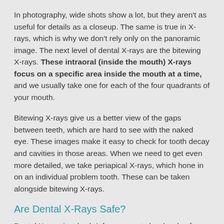In photography, wide shots show a lot, but they aren't as useful for details as a closeup. The same is true in X-rays, which is why we don't rely only on the panoramic image. The next level of dental X-rays are the bitewing X-rays. These intraoral (inside the mouth) X-rays focus on a specific area inside the mouth at a time, and we usually take one for each of the four quadrants of your mouth.
Bitewing X-rays give us a better view of the gaps between teeth, which are hard to see with the naked eye. These images make it easy to check for tooth decay and cavities in those areas. When we need to get even more detailed, we take periapical X-rays, which hone in on an individual problem tooth. These can be taken alongside bitewing X-rays.
Are Dental X-Rays Safe?
Dental X-rays involve brief exposure to low levels of